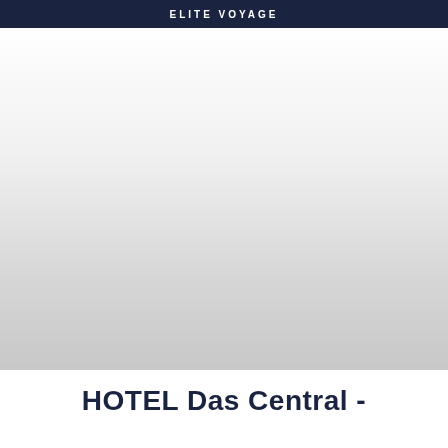ELITE VOYAGE
[Figure (photo): A large photograph of a hotel or alpine resort exterior, shown with a white-to-light-gray gradient fade (image appears washed out/faded). The image fades from white at top to a lighter gray at bottom.]
HOTEL Das Central -